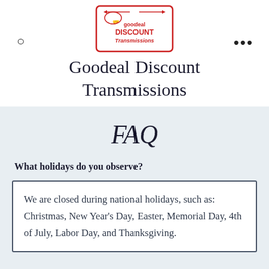[Figure (logo): Goodeal Discount Transmissions logo: red outline rectangle with a hand/fist icon, text 'goodeal DISCOUNT Transmissions' in red]
Goodeal Discount Transmissions
FAQ
What holidays do you observe?
We are closed during national holidays, such as: Christmas, New Year's Day, Easter, Memorial Day, 4th of July, Labor Day, and Thanksgiving.